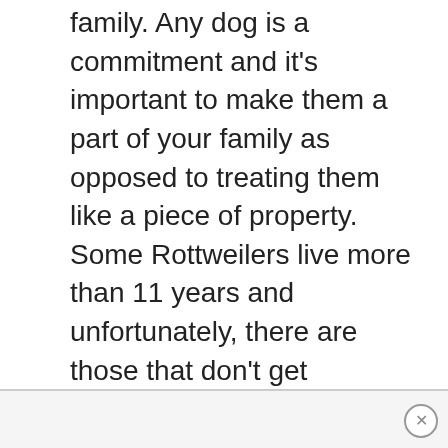family. Any dog is a commitment and it's important to make them a part of your family as opposed to treating them like a piece of property. Some Rottweilers live more than 11 years and unfortunately, there are those that don't get anywhere close to that age. More will be discussed about their health later on.